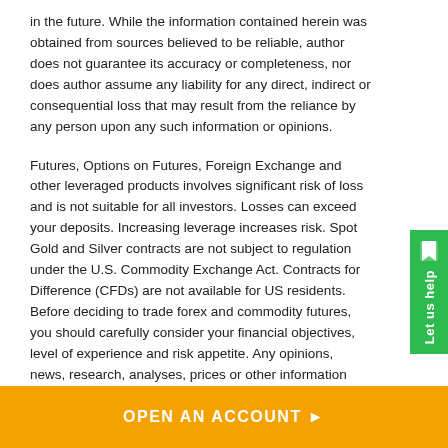in the future. While the information contained herein was obtained from sources believed to be reliable, author does not guarantee its accuracy or completeness, nor does author assume any liability for any direct, indirect or consequential loss that may result from the reliance by any person upon any such information or opinions.
Futures, Options on Futures, Foreign Exchange and other leveraged products involves significant risk of loss and is not suitable for all investors. Losses can exceed your deposits. Increasing leverage increases risk. Spot Gold and Silver contracts are not subject to regulation under the U.S. Commodity Exchange Act. Contracts for Difference (CFDs) are not available for US residents. Before deciding to trade forex and commodity futures, you should carefully consider your financial objectives, level of experience and risk appetite. Any opinions, news, research, analyses, prices or other information contained herein is intended as general information about the subject matter covered and is provided with the understanding that we do not provide any investment, legal, or tax advice. You should consult
[Figure (other): Green vertical side tab with bookmark icon and 'Let us help' text rotated vertically]
OPEN AN ACCOUNT ▶